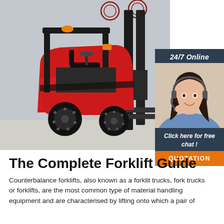[Figure (photo): Red and black electric counterbalance forklift truck parked in front of a grey industrial wall. The forklift has large black tires, an orange beacon on top, and prominent forks visible on the right side.]
[Figure (photo): Chat widget showing '24/7 Online' label, a female customer service agent wearing a headset and smiling, text 'Click here for free chat!', and an orange 'QUOTATION' button.]
The Complete Forklift Guide
Counterbalance forklifts, also known as a forklit trucks, fork trucks or forklifts, are the most common type of material handling equipment and are characterised by lifting onto which a pair of